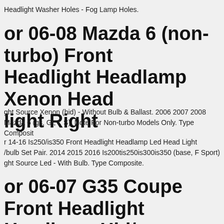Headlight Washer Holes - Fog Lamp Holes.
or 06-08 Mazda 6 (non-turbo) Front Headlight Headlamp Xenon Head light Right
ght Source Xenon (hid) - Without Bulb & Ballast. 2006 2007 2008 Mazda 6 (gs, Gt, I, S). Note For Non-turbo Models Only. Type Composit
r 14-16 Is250/is350 Front Headlight Headlamp Led Head Light /bulb Set Pair. 2014 2015 2016 Is200tis250is300is350 (base, F Sport) ght Source Led - With Bulb. Type Composite.
or 06-07 G35 Coupe Front Headlight Headlamp Hid/xenon Head Light /bulb 2pc Set